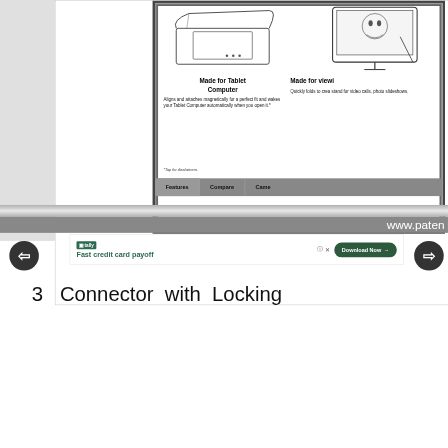[Figure (illustration): Screenshot of a product page showing tablet computer case/cover and monitor stand illustrations with 'Made for Tablet Computer' and 'Made for viewing' sections, plus Features/Compare/Camera navigation tabs and www.paten URL bar.]
[Figure (screenshot): Advertisement banner for Tally app - 'Fast credit card payoff' with Download Now button and close/help icons.]
[Figure (other): Left navigation arrow (back) and right navigation arrow (forward) circular buttons.]
3   Connector  with  Locking